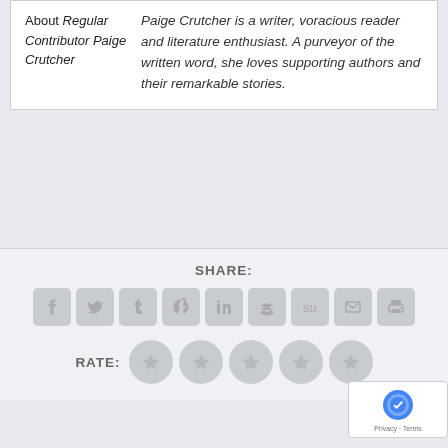About Regular Contributor Paige Crutcher
Paige Crutcher is a writer, voracious reader and literature enthusiast. A purveyor of the written word, she loves supporting authors and their remarkable stories.
SHARE:
[Figure (infographic): Row of 9 social share icon buttons (Facebook, Twitter, Tumblr, Pinterest, LinkedIn, Buffer, StumbleUpon, Email, Print) in gray rounded squares]
RATE:
[Figure (infographic): Five star rating circles in gray]